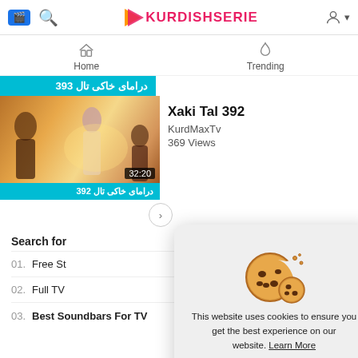KurdishSerie — top navigation bar with add, search, logo, and account icons
Home | Trending navigation
دراماى خاكى تال 393
[Figure (screenshot): Video thumbnail for Xaki Tal 392 showing TV drama scene with duration 32:20 and Kurdish text banner دراماى خاكى تال 392]
Xaki Tal 392
KurdMaxTv
369 Views
Search for
01. Free St
02. Full TV
03. Best Soundbars For TV
[Figure (screenshot): Cookie consent popup with cookie illustration, text: This website uses cookies to ensure you get the best experience on our website. Learn More. Button: Got It!]